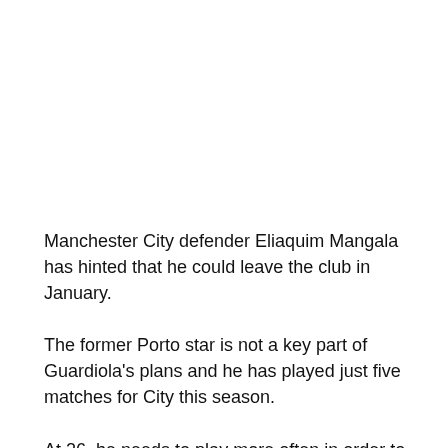Manchester City defender Eliaquim Mangala has hinted that he could leave the club in January.
The former Porto star is not a key part of Guardiola's plans and he has played just five matches for City this season.
At 26, he needs to play more often in order to maintain his fitness and form. Furthermore, with the World Cup coming up he needs to play so that he can improve his chances of